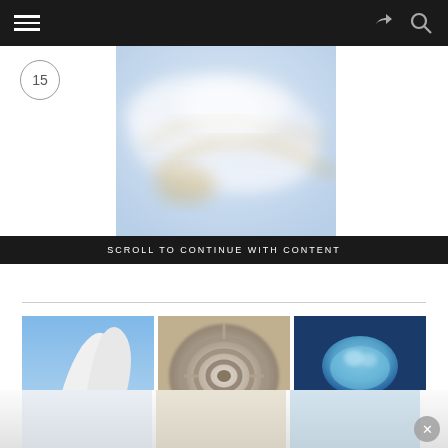Navigation bar with hamburger menu, share icon, and search icon
[Figure (other): Circular badge with number 15]
[Figure (photo): Blurred close-up photo of white and gold fabric or material with soft folds and golden streaks]
SCROLL TO CONTINUE WITH CONTENT
[Figure (photo): Three thumbnail photos side by side: left shows white curved modern architecture exterior with tree; center shows spiral staircase viewed from above in marble/stone; right shows glowing blue jellyfish against dark background]
[Figure (photo): Bottom advertisement strip showing faded/reflected version of the three thumbnails with a close/dismiss button (X) on the right]